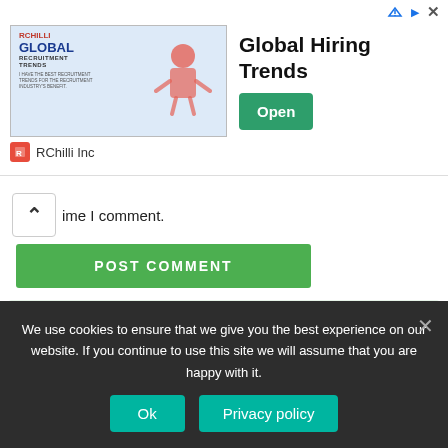[Figure (screenshot): Advertisement banner for RChilli Global Recruitment Trends with 'Global Hiring Trends' title and green 'Open' button]
ime I comment.
[Figure (screenshot): POST COMMENT green button and search box with light green background]
We use cookies to ensure that we give you the best experience on our website. If you continue to use this site we will assume that you are happy with it.
Ok
Privacy policy